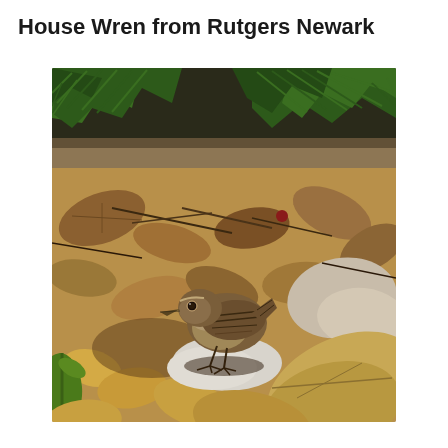House Wren from Rutgers Newark
[Figure (photo): A small House Wren bird standing on the ground among fallen brown leaves and debris, with green pine or fir branches visible in the upper portion of the image. The bird has brown/gray plumage and is photographed at Rutgers Newark.]